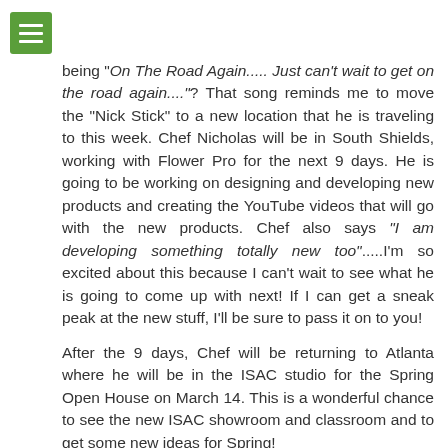being "On The Road Again..... Just can't wait to get on the road again...."?  That song reminds me to move the "Nick Stick" to a new location that he is traveling to this week.  Chef Nicholas will be in South Shields, working with Flower Pro for the next 9 days.  He is going to be working on designing and developing new products and creating the YouTube videos that will go with the new products.  Chef also says "I am developing something totally new too".....I'm so excited about this because I can't wait to see what he is going to come up with next!  If I can get a sneak peak at the new stuff, I'll be sure to pass it on to you!
After the 9 days, Chef will be returning to Atlanta where he will be in the ISAC studio for the Spring Open House on March 14.  This is a wonderful chance to see the new ISAC showroom and classroom and to get some new ideas for Spring!
Continue reading